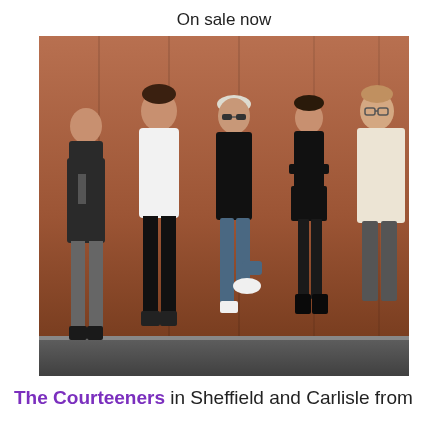On sale now
[Figure (photo): Group photo of five young people (The Courteeners band members) standing against a rusty/brown metal wall. From left: person with head down wearing jeans and dark jacket; person in white t-shirt and black jeans; centre person with platinum/white hair in black polo shirt and blue jeans with one leg raised; woman in black outfit with short skirt; person on far right in cream/white shirt with glasses.]
The Courteeners in Sheffield and Carlisle from